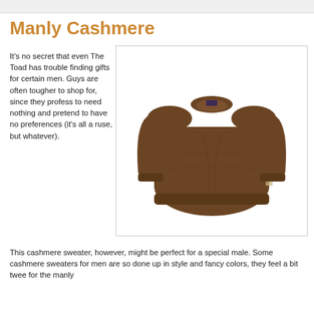Manly Cashmere
It's no secret that even The Toad has trouble finding gifts for certain men. Guys are often tougher to shop for, since they profess to need nothing and pretend to have no preferences (it's all a ruse, but whatever).
[Figure (photo): A brown cashmere crew-neck sweater displayed flat against a white background inside a light-bordered box.]
This cashmere sweater, however, might be perfect for a special male. Some cashmere sweaters for men are so done up in style and fancy colors, they feel a bit twee for the manly